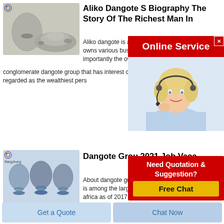[Figure (photo): An egg-shaped container with gray/white powder residue and a pile of gray powder beside it on a white background]
Aliko Dangote S Biography The Story Of The Richest Man In
Aliko dangote is a famous nigerian tycoon who owns various busin... business magnate i... importantly the own conglomerate dangote group that has interest commoc several countries he is regarded as the wealthiest pers
[Figure (photo): Online Service advertisement overlay with a woman wearing a headset (customer service agent)]
[Figure (photo): Three blue egg-shaped containers on stands with logo, arranged in a row]
Dangote Grou 2021 Job Vaca
About dangote grou multinational conglo in 1981 it is among the largest conglomerate company in africa as of 2017 the company generates over 4 1 billion usd annually it was estimated that the company employes over 30 000 employees
[Figure (infographic): Need Quotation & Suggestion? Free Chat advertisement overlay in red with yellow button]